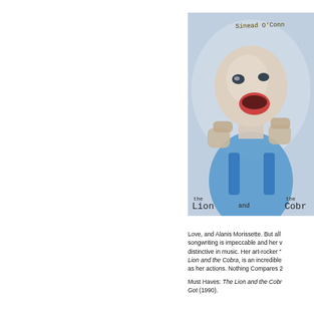[Figure (photo): Album cover for Sinead O'Connor 'The Lion and the Cobra' showing a bald woman with mouth open wide, hands raised in fists, wearing blue, with handwritten text 'Sinead O'Conn...' at top right and 'the Lion and the Cobr...' at the bottom]
Love, and Alanis Morissette. But all songwriting is impeccable and her v distinctive in music. Her art-rocker " Lion and the Cobra, is an incredible as her actions. Nothing Compares 2
Must Haves: The Lion and the Cobr... Got (1990).